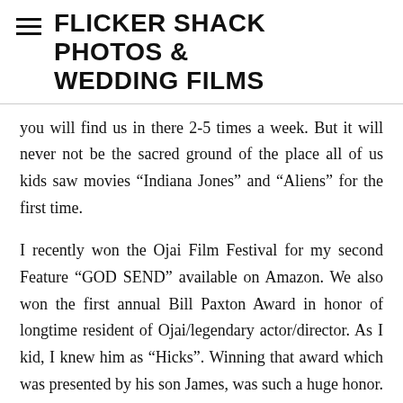FLICKER SHACK PHOTOS & WEDDING FILMS
you will find us in there 2-5 times a week. But it will never not be the sacred ground of the place all of us kids saw movies “Indiana Jones” and “Aliens” for the first time.
I recently won the Ojai Film Festival for my second Feature “GOD SEND” available on Amazon. We also won the first annual Bill Paxton Award in honor of longtime resident of Ojai/legendary actor/director. As I kid, I knew him as “Hicks”. Winning that award which was presented by his son James, was such a huge honor. James’s dad was one of my biggest memories